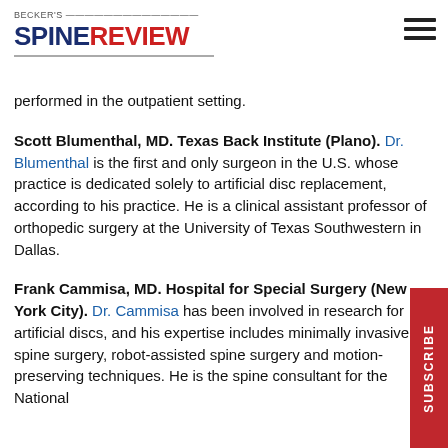BECKER'S SPINE REVIEW
performed in the outpatient setting.
Scott Blumenthal, MD. Texas Back Institute (Plano). Dr. Blumenthal is the first and only surgeon in the U.S. whose practice is dedicated solely to artificial disc replacement, according to his practice. He is a clinical assistant professor of orthopedic surgery at the University of Texas Southwestern in Dallas.
Frank Cammisa, MD. Hospital for Special Surgery (New York City). Dr. Cammisa has been involved in research for artificial discs, and his expertise includes minimally invasive spine surgery, robot-assisted spine surgery and motion-preserving techniques. He is the spine consultant for the National